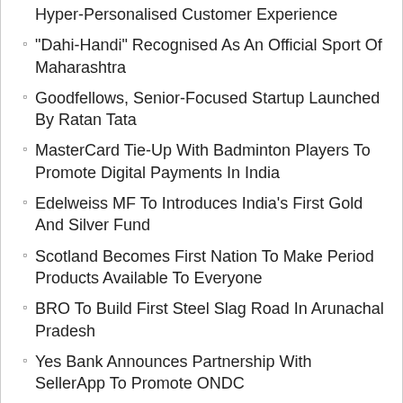Hyper-Personalised Customer Experience
“Dahi-Handi” Recognised As An Official Sport Of Maharashtra
Goodfellows, Senior-Focused Startup Launched By Ratan Tata
MasterCard Tie-Up With Badminton Players To Promote Digital Payments In India
Edelweiss MF To Introduces India’s First Gold And Silver Fund
Scotland Becomes First Nation To Make Period Products Available To Everyone
BRO To Build First Steel Slag Road In Arunachal Pradesh
Yes Bank Announces Partnership With SellerApp To Promote ONDC